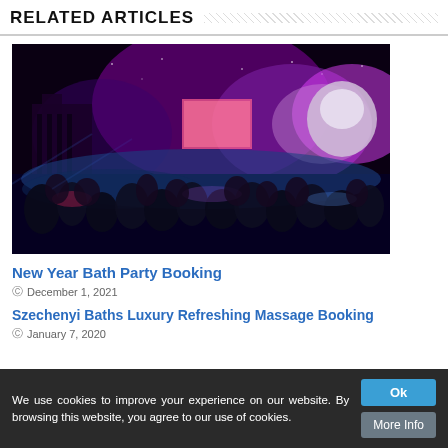RELATED ARTICLES
[Figure (photo): Night concert with large crowd, purple and blue stage lighting, performer on stage with large inflatable figure]
New Year Bath Party Booking
December 1, 2021
Szechenyi Baths Luxury Refreshing Massage Booking
January 7, 2020
We use cookies to improve your experience on our website. By browsing this website, you agree to our use of cookies.